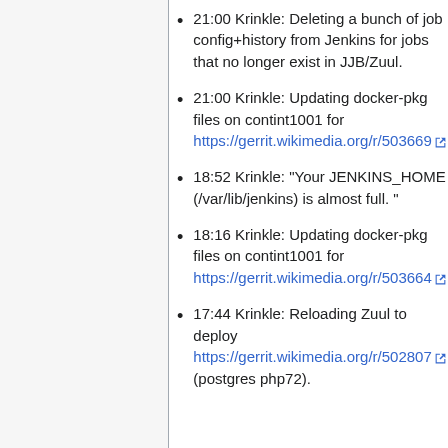jobs that no longer exist in JJB/Zuul. T91410
21:00 Krinkle: Deleting a bunch of job config+history from Jenkins for jobs that no longer exist in JJB/Zuul.
21:00 Krinkle: Updating docker-pkg files on contint1001 for https://gerrit.wikimedia.org/r/503669
18:52 Krinkle: "Your JENKINS_HOME (/var/lib/jenkins) is almost full. "
18:16 Krinkle: Updating docker-pkg files on contint1001 for https://gerrit.wikimedia.org/r/503664
17:44 Krinkle: Reloading Zuul to deploy https://gerrit.wikimedia.org/r/502807 (postgres php72).